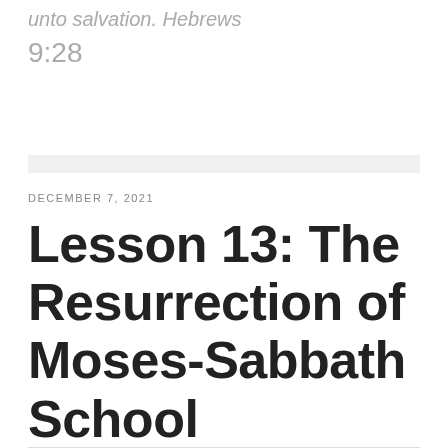unto salvation. Hebrews 9:28
DECEMBER 7, 2021
Lesson 13: The Resurrection of Moses-Sabbath School Teaching Plan